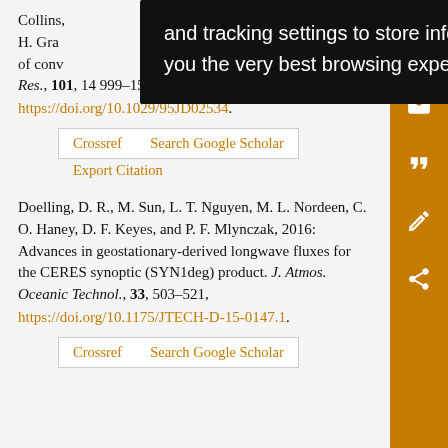Collins, [partially obscured], H. Gras[obscured] cts of conv[obscured] Res., 101, 14 999–15 012, https://doi.org/10.1029/95JD02534.
Crossref | Search Google Scholar
Export Citation
Doelling, D. R., M. Sun, L. T. Nguyen, M. L. Nordeen, C. O. Haney, D. F. Keyes, and P. F. Mlynczak, 2016: Advances in geostationary-derived longwave fluxes for the CERES synoptic (SYN1deg) product. J. Atmos. Oceanic Technol., 33, 503–521, https://doi.org/10.1175/JTECH-D-15-0147.1.
Crossref | Search Google Scholar